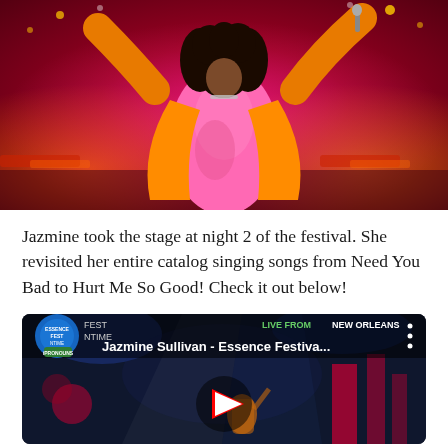[Figure (photo): Concert photo of Jazmine Sullivan on stage wearing a pink bodysuit and orange jacket, arms raised, performing under red stage lights]
Jazmine took the stage at night 2 of the festival. She revisited her entire catalog singing songs from Need You Bad to Hurt Me So Good! Check it out below!
[Figure (screenshot): YouTube video thumbnail showing Jazmine Sullivan - Essence Festiva... with LIVE FROM NEW ORLEANS text and a red play button]